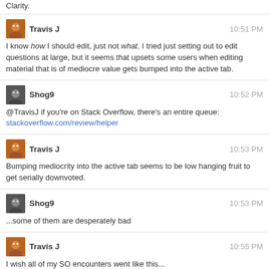Clarity.
Travis J  10:51 PM
I know how I should edit, just not what. I tried just setting out to edit questions at large, but it seems that upsets some users when editing material that is of mediocre value gets bumped into the active tab.
Shog9  10:52 PM
@TravisJ if you're on Stack Overflow, there's an entire queue:
stackoverflow.com/review/helper
Travis J  10:53 PM
Bumping mediocrity into the active tab seems to be low hanging fruit to get serially downvoted.
Shog9  10:53 PM
...some of them are desperately bad
Travis J  10:55 PM
I wish all of my SO encounters went like this...
@TravisJ Bless you kind sir! I was about to give up and you showed me the way! My code actually runs again and I can get back to it. You have taught me something valuable and I will never forget your kindness to help an idiot who didn't even realize he was in a different namespace. I will name the game's master character after you.
— 3rrr6 2 mins ago
@Shog9 I will try to see if I can edit in that queue and perhaps it wont lead to instant retaliation.
Shog9  10:58 PM
@TravisJ want to [edit | flag this...